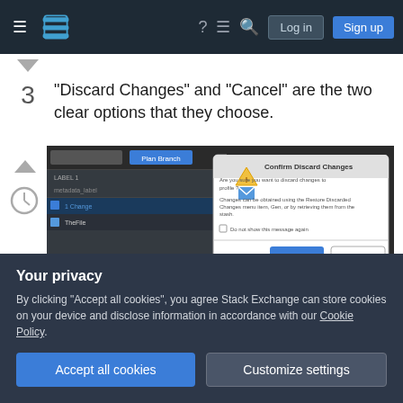Stack Exchange navigation bar with Log in and Sign up buttons
"Discard Changes" and "Cancel" are the two clear options that they choose.
[Figure (screenshot): Screenshot of a macOS application showing a 'Confirm Discard Changes' dialog with Cancel and Discard Changes buttons]
Unless your use case really calls for it, you're probably adding unnecessary complexity by adding the tion f...
Your privacy
By clicking "Accept all cookies", you agree Stack Exchange can store cookies on your device and disclose information in accordance with our Cookie Policy.
Accept all cookies   Customize settings